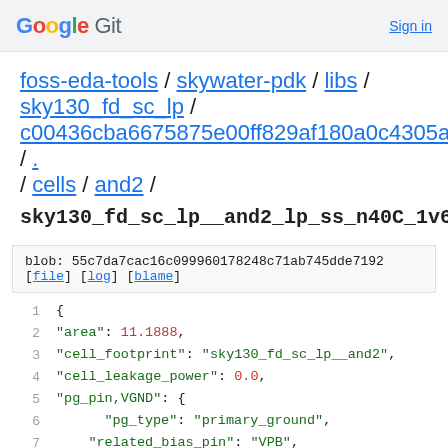Google Git  Sign in
foss-eda-tools / skywater-pdk / libs / sky130_fd_sc_lp / c00436cba6675875e00ff829af180a0c4305a4f9 / . / cells / and2 /
sky130_fd_sc_lp__and2_lp_ss_n40C_1v60.lib.json
blob: 55c7da7cac16c099960178248c71ab745dde7192 [file] [log] [blame]
1  {
2      "area": 11.1888,
3      "cell_footprint": "sky130_fd_sc_lp__and2",
4      "cell_leakage_power": 0.0,
5      "pg_pin,VGND": {
6          "pg_type": "primary_ground",
7          "related_bias_pin": "VPB",